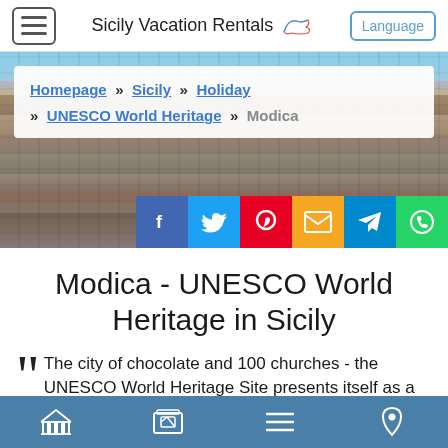Sicily Vacation Rentals — Language
[Figure (photo): Aerial/panoramic photo of Modica, Sicily, showing dense historic urban buildings stacked on hillside]
Homepage » Sicily » Holiday » UNESCO World Heritage » Modica
[Figure (infographic): Social share bar with Facebook, Twitter, Pinterest, Email, Telegram, WhatsApp buttons]
Modica - UNESCO World Heritage in Sicily
The city of chocolate and 100 churches - the UNESCO World Heritage Site presents itself as a late Baroque
Bottom navigation bar with icons: museum/building, gallery, menu, location pin